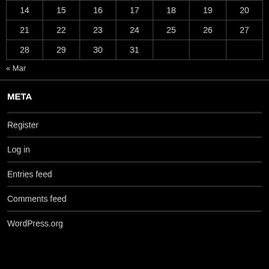| 14 | 15 | 16 | 17 | 18 | 19 | 20 |
| 21 | 22 | 23 | 24 | 25 | 26 | 27 |
| 28 | 29 | 30 | 31 |  |  |  |
« Mar
META
Register
Log in
Entries feed
Comments feed
WordPress.org